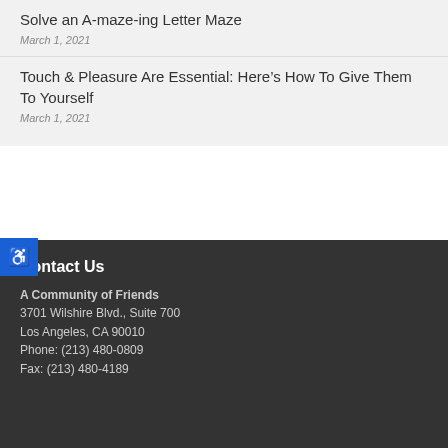Solve an A-maze-ing Letter Maze
March 1, 2021
Touch & Pleasure Are Essential: Here’s How To Give Them To Yourself
March 1, 2021
Contact Us
A Community of Friends
3701 Wilshire Blvd., Suite 700
Los Angeles, CA 90010
Phone: (213) 480-0809
Fax: (213) 480-4189